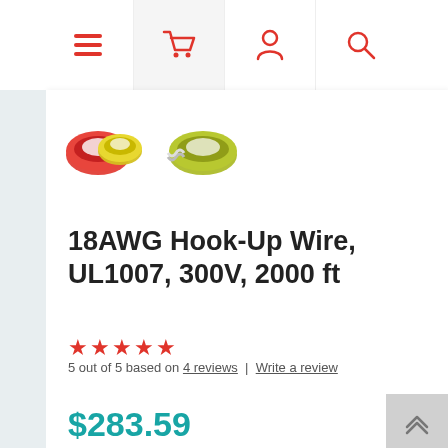Navigation bar with menu, cart, account, and search icons
[Figure (photo): Two coils of hook-up wire: red/yellow coil and yellow/white coil, thumbnail product images]
18AWG Hook-Up Wire, UL1007, 300V, 2000 ft
5 out of 5 based on 4 reviews | Write a review
$283.59